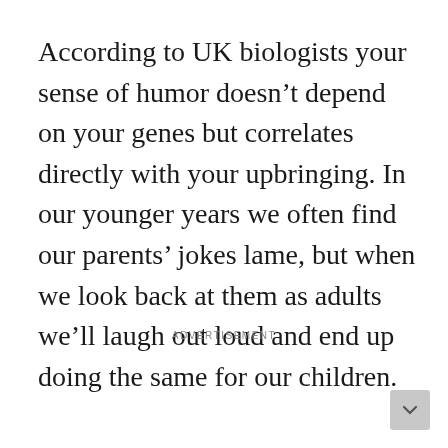According to UK biologists your sense of humor doesn't depend on your genes but correlates directly with your upbringing. In our younger years we often find our parents' jokes lame, but when we look back at them as adults we'll laugh out loud and end up doing the same for our children.
ADVERTISEMENT